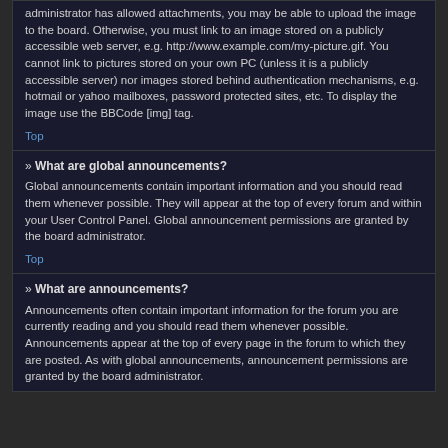administrator has allowed attachments, you may be able to upload the image to the board. Otherwise, you must link to an image stored on a publicly accessible web server, e.g. http://www.example.com/my-picture.gif. You cannot link to pictures stored on your own PC (unless it is a publicly accessible server) nor images stored behind authentication mechanisms, e.g. hotmail or yahoo mailboxes, password protected sites, etc. To display the image use the BBCode [img] tag.
Top
» What are global announcements?
Global announcements contain important information and you should read them whenever possible. They will appear at the top of every forum and within your User Control Panel. Global announcement permissions are granted by the board administrator.
Top
» What are announcements?
Announcements often contain important information for the forum you are currently reading and you should read them whenever possible. Announcements appear at the top of every page in the forum to which they are posted. As with global announcements, announcement permissions are granted by the board administrator.